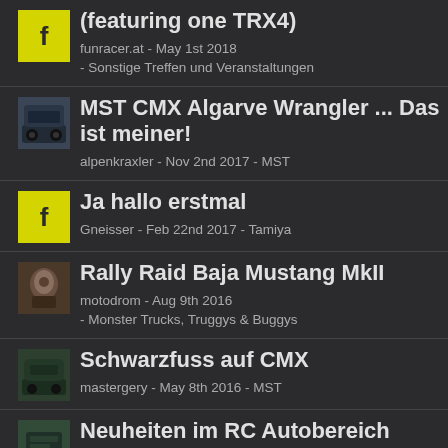(featuring one TRX4)
funracer.at - May 1st 2018
- Sonstige Treffen und Veranstaltungen
MST CMX Algarve Wrangler ... Das ist meiner!
alpenkraxler - Nov 2nd 2017 - MST
Ja hallo erstmal
Gneisser - Feb 22nd 2017 - Tamiya
Rally Raid Baja Mustang MkII
motodrom - Aug 9th 2016
- Monster Trucks, Truggys & Buggys
Schwarzfuss auf CMX
mastergery - May 8th 2016 - MST
Neuheiten im RC Autobereich "Toy Fair